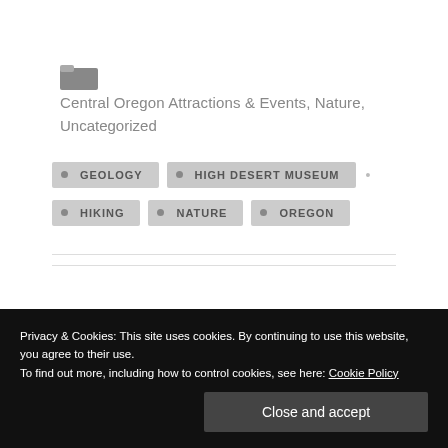Central Oregon Attractions & Events, Nature, Uncategorized
GEOLOGY
HIGH DESERT MUSEUM
HIKING
NATURE
OREGON
Privacy & Cookies: This site uses cookies. By continuing to use this website, you agree to their use. To find out more, including how to control cookies, see here: Cookie Policy
Close and accept